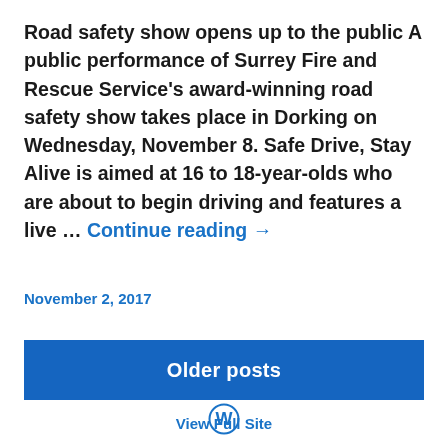Road safety show opens up to the public A public performance of Surrey Fire and Rescue Service's award-winning road safety show takes place in Dorking on Wednesday, November 8. Safe Drive, Stay Alive is aimed at 16 to 18-year-olds who are about to begin driving and features a live … Continue reading →
November 2, 2017
Older posts
View Full Site
[Figure (logo): WordPress logo icon (W in a circle)]